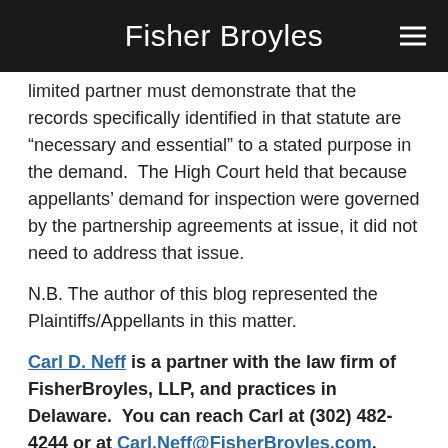Fisher Broyles
limited partner must demonstrate that the records specifically identified in that statute are “necessary and essential” to a stated purpose in the demand. The High Court held that because appellants’ demand for inspection were governed by the partnership agreements at issue, it did not need to address that issue.
N.B. The author of this blog represented the Plaintiffs/Appellants in this matter.
Carl D. Neff is a partner with the law firm of FisherBroyles, LLP, and practices in Delaware. You can reach Carl at (302) 482-4244 or at Carl.Neff@FisherBroyles.com.